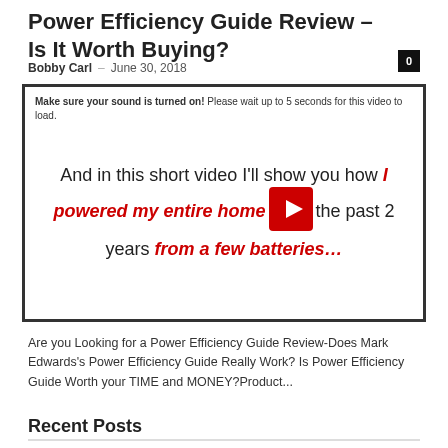Power Efficiency Guide Review – Is It Worth Buying?
Bobby Carl – June 30, 2018
[Figure (screenshot): Video thumbnail with text: 'Make sure your sound is turned on! Please wait up to 5 seconds for this video to load.' and main text 'And in this short video I'll show you how I powered my entire home the past 2 years from a few batteries...' with a red play button in the center.]
Are you Looking for a Power Efficiency Guide Review-Does Mark Edwards's Power Efficiency Guide Really Work? Is Power Efficiency Guide Worth your TIME and MONEY?Product...
Recent Posts